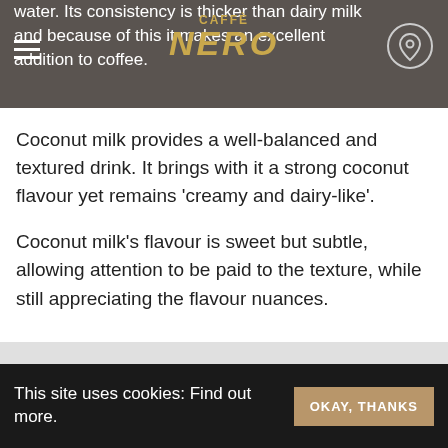water. Its consistency is thicker than dairy milk and because of this it makes an excellent addition to coffee.
[Figure (logo): Caffè Nero logo in gold text on dark gray background]
Coconut milk provides a well-balanced and textured drink. It brings with it a strong coconut flavour yet remains 'creamy and dairy-like'.
Coconut milk's flavour is sweet but subtle, allowing attention to be paid to the texture, while still appreciating the flavour nuances.
Tags:
[Figure (infographic): Three gold circular social share icons: Facebook (f), Twitter (bird), Email (envelope)]
This site uses cookies: Find out more.